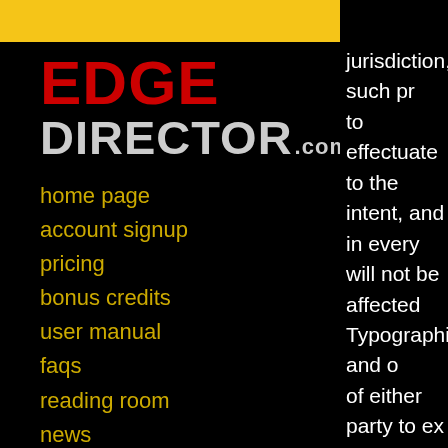EDGE DIRECTOR.com
home page
account signup
pricing
bonus credits
user manual
faqs
reading room
news
contacts
terms
current uptime
email bookmark
jurisdiction, such pr to effectuate to the intent, and in every will not be affected Typographical and o of either party to ex Agreement will not joint venture, partne between client and services.
DISPUTES
This agreement will laws of Ontario, Ca Agreement will be T
WARRANTIES, DIS DAMAGES
Provider warrants...